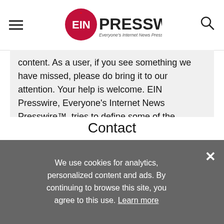EINPresswire — Everyone's Internet News Presswire
content. As a user, if you see something we have missed, please do bring it to our attention. Your help is welcome. EIN Presswire, Everyone's Internet News Presswire™, tries to define some of the boundaries that are reasonable in today's world. Please see our Editorial Guidelines for more information.
Contact
Caroline Hunter
Web Presence, LLC
+17865519491
We use cookies for analytics, personalized content and ads. By continuing to browse this site, you agree to this use. Learn more